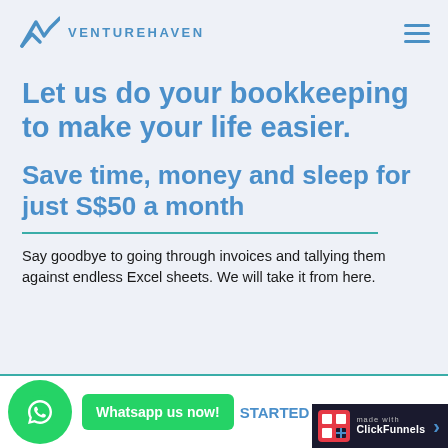VENTUREHAVEN
Let us do your bookkeeping to make your life easier.
Save time, money and sleep for just S$50 a month
Say goodbye to going through invoices and tallying them against endless Excel sheets. We will take it from here.
[Figure (other): WhatsApp button with green circle icon and 'Whatsapp us now!' green button, alongside 'STARTED' text and ClickFunnels badge]